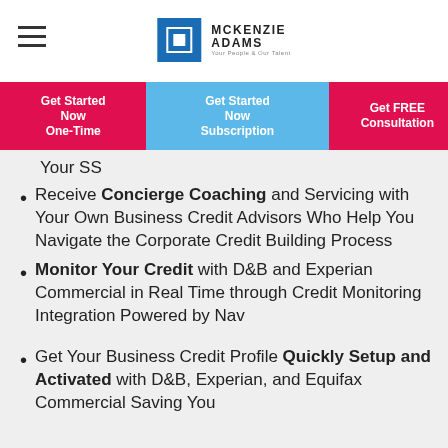McKenzie Adams
Get Started Now One-Time | Get Started Now Subscription | Get FREE Consultation
Your SS
Receive Concierge Coaching and Servicing with Your Own Business Credit Advisors Who Help You Navigate the Corporate Credit Building Process
Monitor Your Credit with D&B and Experian Commercial in Real Time through Credit Monitoring Integration Powered by Nav
Get Your Business Credit Profile Quickly Setup and Activated with D&B, Experian, and Equifax Commercial Saving You